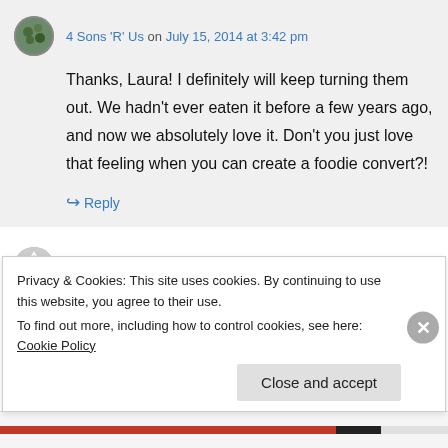4 Sons 'R' Us on July 15, 2014 at 3:42 pm
Thanks, Laura! I definitely will keep turning them out. We hadn't ever eaten it before a few years ago, and now we absolutely love it. Don't you just love that feeling when you can create a foodie convert?!
↳ Reply
J on July 19, 2014 at 6:19 pm
Privacy & Cookies: This site uses cookies. By continuing to use this website, you agree to their use.
To find out more, including how to control cookies, see here: Cookie Policy
Close and accept